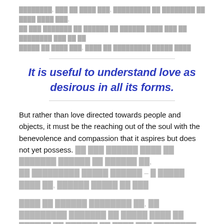[Blurred text in non-Latin script] – several lines of redacted/blurred content
It is useful to understand love as desirous in all its forms.
But rather than love directed towards people and objects, it must be the reaching out of the soul with the benevolence and compassion that it aspires but does not yet possess. [Blurred text] – [Blurred text]
[Blurred text] Such a kindred soul gives birth to good conditions in the world and leads to